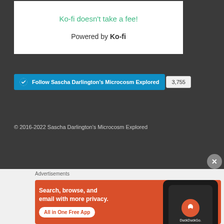Ko-fi doesn't take a fee!
Powered by Ko-fi
Follow Sascha Darlington's Microcosm Explored  3,755
© 2016-2022 Sascha Darlington's Microcosm Explored
Advertisements
[Figure (screenshot): DuckDuckGo advertisement banner with orange background showing 'Search, browse, and email with more privacy. All in One Free App' with phone mockup and DuckDuckGo logo]